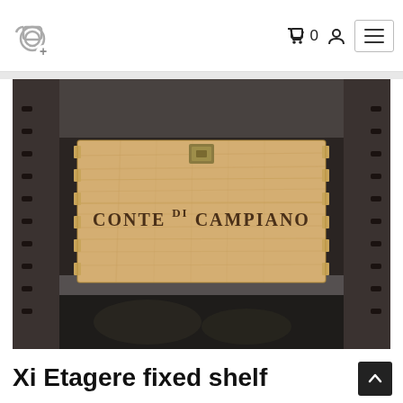Xi Etagere wine rack website header with cart icon showing 0 items, user icon, and hamburger menu
[Figure (photo): A wooden wine box (crate) with the brand text 'CONTE DI CAMPIANO' engraved on it, placed on a dark metal wine rack shelf. The box has finger-joint corners and a metal clasp on top. The background shows the dark metal shelving unit.]
Xi Etagere fixed shelf